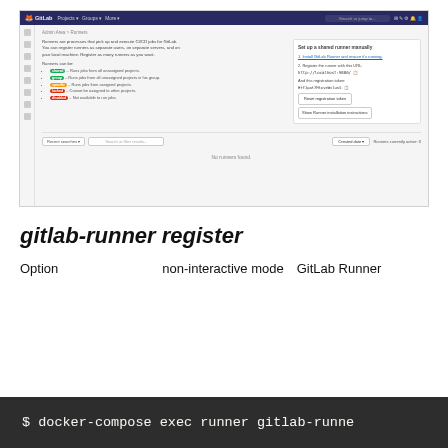[Figure (screenshot): GitLab web UI screenshot showing the Runners admin page with sidebar, runner type badges, runner setup instructions (URL and token), filter bar, and 'No runners found' message.]
gitlab-runner register
Optionを使うことでnon-interactive modeでGitLab Runnerを登録できる。
$ docker-compose exec runner gitlab-runne